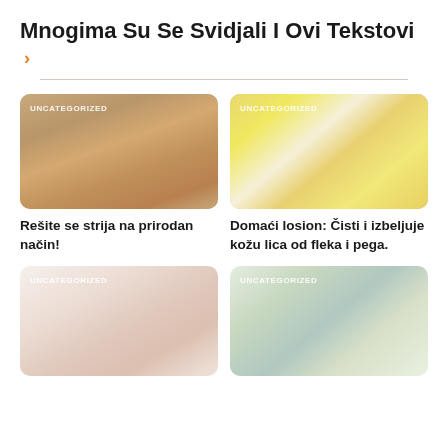Mnogima Su Se Svidjali I Ovi Tekstovi
[Figure (photo): Pregnant woman applying cream to belly - UNCATEGORIZED label]
[Figure (photo): Two women with lemon slices - UNCATEGORIZED label]
Rešite se strija na prirodan način!
Domaći losion: Čisti i izbeljuje kožu lica od fleka i pega.
[Figure (photo): Sleeping baby close-up - UNCATEGORIZED label]
[Figure (photo): Mother with baby on floor - UNCATEGORIZED label]